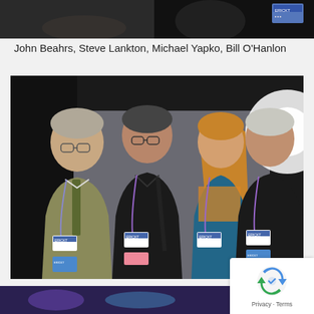[Figure (photo): Partial photo at top showing two people, dark background, with a badge/lanyard visible on the right side]
John Beahrs, Steve Lankton, Michael Yapko, Bill O'Hanlon
[Figure (photo): Four people posing for a photo at a conference. From left: older man in khaki jacket with patterned tie and lanyard/badge, man in dark clothing with glasses and lanyard/badge, woman with long brown hair and colorful scarf with lanyard/badge, older man in dark clothing with lanyard/badge. Bright light flare visible upper right.]
Michael Yapko, Jeff Zeig, Lynn Lyons, Bill O'Han
[Figure (photo): Partial photo at bottom with purple/blue tones]